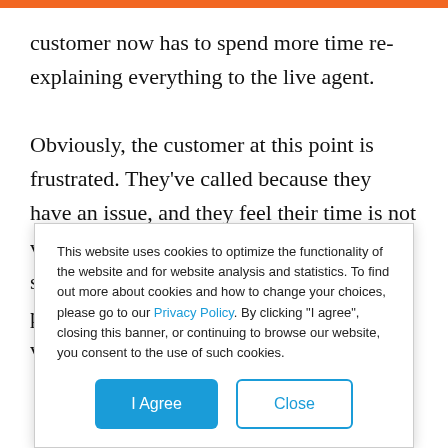customer now has to spend more time re-explaining everything to the live agent.

Obviously, the customer at this point is frustrated. They've called because they have an issue, and they feel their time is not valued by the CSP. This alone decreases satisfaction and drives them to competitors promising a better experience—or at the very least, a
This website uses cookies to optimize the functionality of the website and for website analysis and statistics. To find out more about cookies and how to change your choices, please go to our Privacy Policy. By clicking "I agree", closing this banner, or continuing to browse our website, you consent to the use of such cookies.